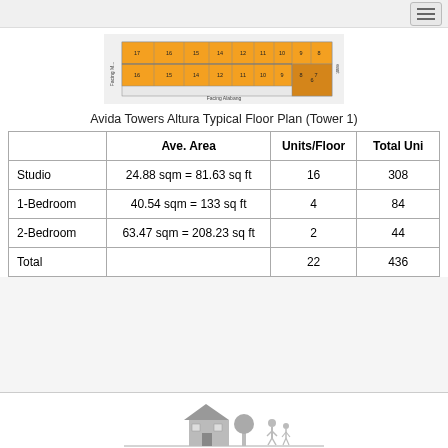[Figure (engineering-diagram): Avida Towers Altura Typical Floor Plan (Tower 1) — horizontal floor plan layout showing numbered unit rooms in orange/amber color with corridor, labeled with unit numbers 7–16, with 'Facing M...' and 'Facing Alabang' orientation labels.]
Avida Towers Altura Typical Floor Plan (Tower 1)
|  | Ave. Area | Units/Floor | Total Units |
| --- | --- | --- | --- |
| Studio | 24.88 sqm = 81.63 sq ft | 16 | 308 |
| 1-Bedroom | 40.54 sqm = 133 sq ft | 4 | 84 |
| 2-Bedroom | 63.47 sqm = 208.23 sq ft | 2 | 44 |
| Total |  | 22 | 436 |
[Figure (illustration): Gray silhouette illustration of a house with a tree and two walking figures at the bottom of the page.]